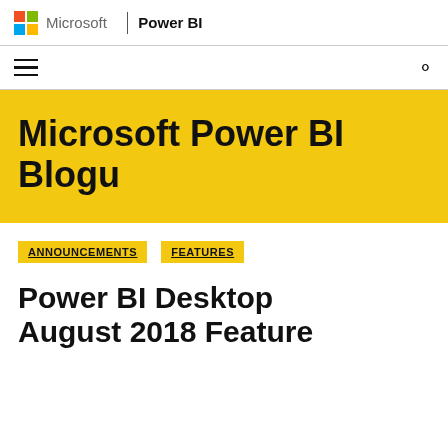Microsoft | Power BI
[Figure (logo): Microsoft logo with colored grid squares and Power BI text]
Microsoft Power BI Blogu
ANNOUNCEMENTS
FEATURES
Power BI Desktop August 2018 Feature